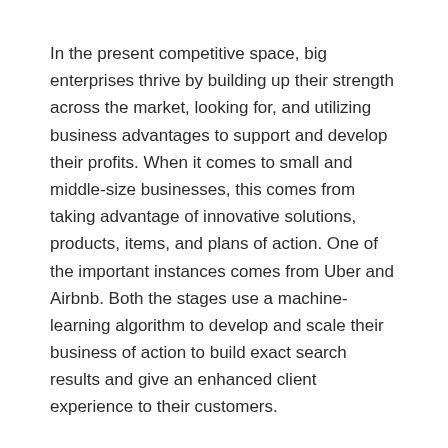In the present competitive space, big enterprises thrive by building up their strength across the market, looking for, and utilizing business advantages to support and develop their profits. When it comes to small and middle-size businesses, this comes from taking advantage of innovative solutions, products, items, and plans of action. One of the important instances comes from Uber and Airbnb. Both the stages use a machine-learning algorithm to develop and scale their business of action to build exact search results and give an enhanced client experience to their customers.
Filed Under: Artificial Intelligence